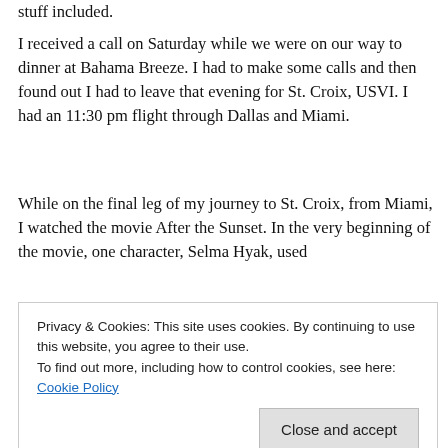stuff included.
I received a call on Saturday while we were on our way to dinner at Bahama Breeze. I had to make some calls and then found out I had to leave that evening for St. Croix, USVI. I had an 11:30 pm flight through Dallas and Miami.
While on the final leg of my journey to St. Croix, from Miami, I watched the movie After the Sunset. In the very beginning of the movie, one character, Selma Hyak, used
Privacy & Cookies: This site uses cookies. By continuing to use this website, you agree to their use.
To find out more, including how to control cookies, see here: Cookie Policy
setup twist.